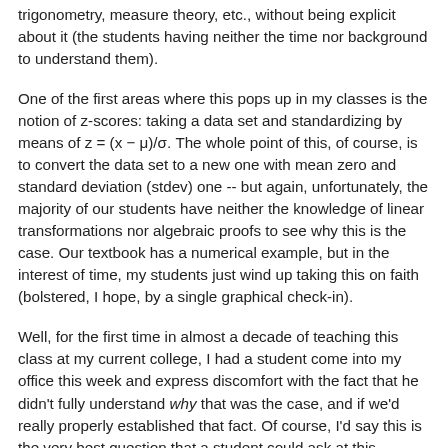trigonometry, measure theory, etc., without being explicit about it (the students having neither the time nor background to understand them).
One of the first areas where this pops up in my classes is the notion of z-scores: taking a data set and standardizing by means of z = (x − μ)/σ. The whole point of this, of course, is to convert the data set to a new one with mean zero and standard deviation (stdev) one -- but again, unfortunately, the majority of our students have neither the knowledge of linear transformations nor algebraic proofs to see why this is the case. Our textbook has a numerical example, but in the interest of time, my students just wind up taking this on faith (bolstered, I hope, by a single graphical check-in).
Well, for the first time in almost a decade of teaching this class at my current college, I had a student come into my office this week and express discomfort with the fact that he didn't fully understand why that was the case, and if we'd really properly established that fact. Of course, I'd say this is the very best question that a student could ask at this juncture, and really gets at the heart of confirmation and